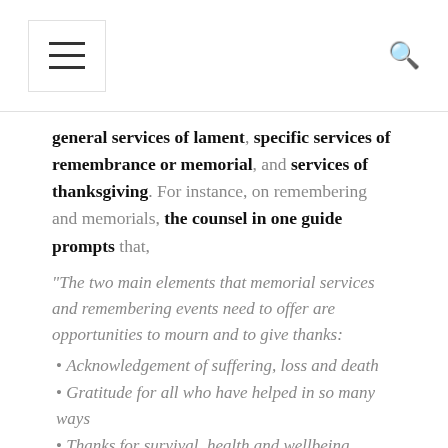≡ [menu icon] [search icon]
general services of lament, specific services of remembrance or memorial, and services of thanksgiving. For instance, on remembering and memorials, the counsel in one guide prompts that,
"The two main elements that memorial services and remembering events need to offer are opportunities to mourn and to give thanks:
Acknowledgement of suffering, loss and death
Gratitude for all who have helped in so many ways
Thanks for survival, health and wellbeing
Thanks for the life of the individual(s) who has died"
There are also insights on the value of services of restoration – a time of worship designed to bridge worshipers from crisis and loss toward renewed